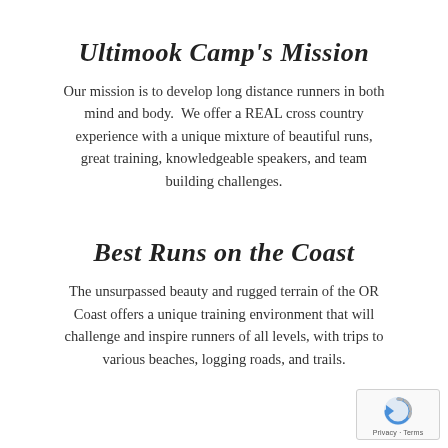Ultimook Camp's Mission
Our mission is to develop long distance runners in both mind and body.  We offer a REAL cross country experience with a unique mixture of beautiful runs, great training, knowledgeable speakers, and team building challenges.
Best Runs on the Coast
The unsurpassed beauty and rugged terrain of the OR Coast offers a unique training environment that will challenge and inspire runners of all levels, with trips to various beaches, logging roads, and trails.